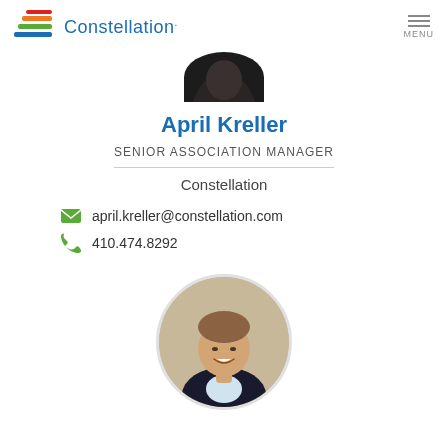Constellation  MENU
[Figure (photo): Partial profile photo of April Kreller, cropped at bottom of circle, dark hair visible against white background]
April Kreller
SENIOR ASSOCIATION MANAGER
Constellation
april.kreller@constellation.com
410.474.8292
[Figure (photo): Circular profile photo of a young man with short brown hair, smiling, wearing a dark suit with white shirt]